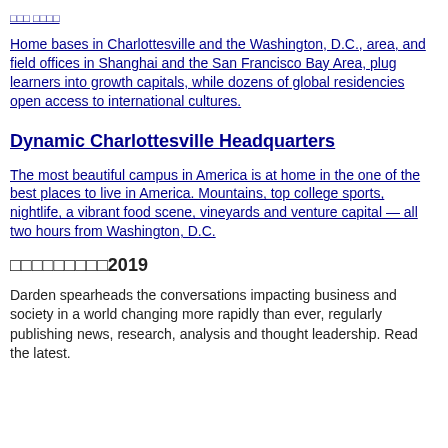□□□ □□□□
Home bases in Charlottesville and the Washington, D.C., area, and field offices in Shanghai and the San Francisco Bay Area, plug learners into growth capitals, while dozens of global residencies open access to international cultures.
Dynamic Charlottesville Headquarters
The most beautiful campus in America is at home in the one of the best places to live in America. Mountains, top college sports, nightlife, a vibrant food scene, vineyards and venture capital — all two hours from Washington, D.C.
□□□□□□□□□2019
Darden spearheads the conversations impacting business and society in a world changing more rapidly than ever, regularly publishing news, research, analysis and thought leadership. Read the latest.